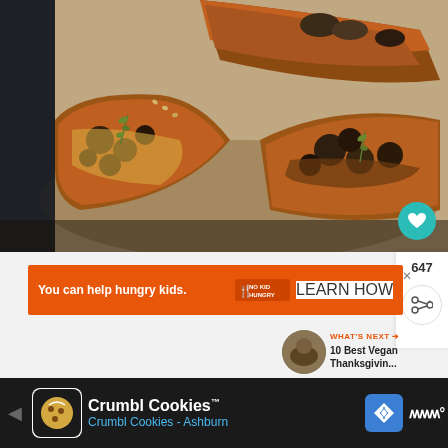[Figure (photo): Close-up food photo of mushroom bruschetta/crostini on a wooden board, showing toasted bread slices topped with sauteed mushrooms, melted cheese, and fresh thyme herbs. Dark moody photography style.]
[Figure (screenshot): Orange advertisement banner: 'You can help hungry kids.' with No Kid Hungry logo and LEARN HOW button]
[Figure (screenshot): WHAT'S NEXT panel showing thumbnail and text '10 Best Vegan Thanksgivin...']
[Figure (screenshot): Bottom advertisement bar for Crumbl Cookies with app icon, 'Crumbl Cookies™' title, 'Crumbl Cookies - Ashburn' subtitle, navigation arrow icon, and weather/map icon]